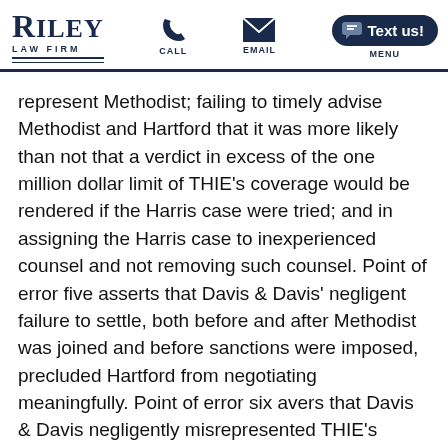Riley Law Firm | CALL | EMAIL | MENU | Text us!
represent Methodist; failing to timely advise Methodist and Hartford that it was more likely than not that a verdict in excess of the one million dollar limit of THIE’s coverage would be rendered if the Harris case were tried; and in assigning the Harris case to inexperienced counsel and not removing such counsel. Point of error five asserts that Davis & Davis’ negligent failure to settle, both before and after Methodist was joined and before sanctions were imposed, precluded Hartford from negotiating meaningfully. Point of error six avers that Davis & Davis negligently misrepresented THIE’s coverage of